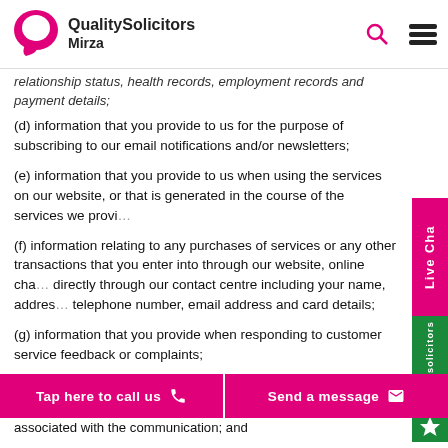QualitySolicitors Mirza
relationship status, health records, employment records and payment details;
(d) information that you provide to us for the purpose of subscribing to our email notifications and/or newsletters;
(e) information that you provide to us when using the services on our website, or that is generated in the course of the services we provide;
(f) information relating to any purchases of services or any other transactions that you enter into through our website, online chat or directly through our contact centre including your name, address, telephone number, email address and card details;
(g) information that you provide when responding to customer service feedback or complaints;
(h) information contained in or relating to any communication that...
Tap here to call us | Send a message
associated with the communication; and